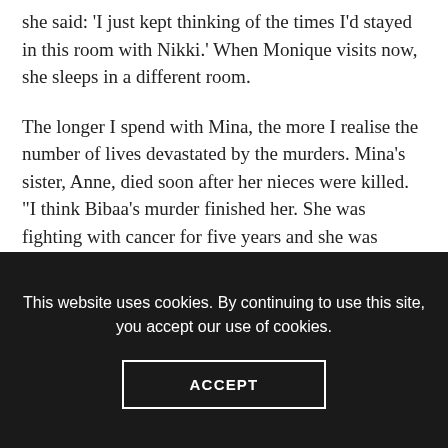she said: ‘I just kept thinking of the times I’d stayed in this room with Nikki.’ When Monique visits now, she sleeps in a different room.
The longer I spend with Mina, the more I realise the number of lives devastated by the murders. Mina’s sister, Anne, died soon after her nieces were killed. “I think Bibaa’s murder finished her. She was fighting with cancer for five years and she was particularly close to Bibaa. She wanted to talk about her, and I couldn’t do it. I was broken. I couldn’t even go to her funeral because it was only few months after the girls’. I couldn’t go back there.”
This website uses cookies. By continuing to use this site, you accept our use of cookies.
ACCEPT